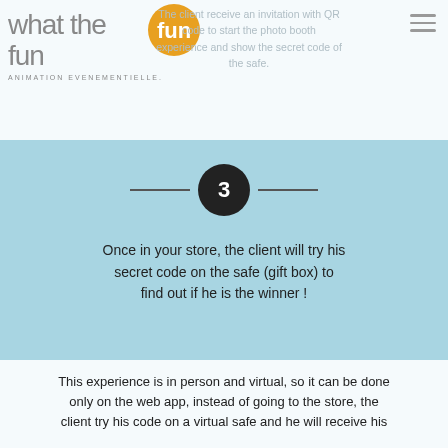what the fun — ANIMATION EVENEMENTIELLE.
The client receive an invitation with QR code to start the photo booth experience and show the secret code of the safe.
3
Once in your store, the client will try his secret code on the safe (gift box) to find out if he is the winner !
This experience is in person and virtual, so it can be done only on the web app, instead of going to the store, the client try his code on a virtual safe and he will receive his